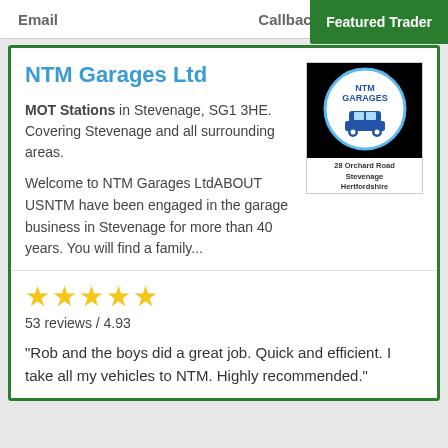Email    Callback
Featured Trader
NTM Garages Ltd
MOT Stations in Stevenage, SG1 3HE. Covering Stevenage and all surrounding areas.
[Figure (logo): NTM Garages Ltd logo — circular logo on black background with car icon, address: 28 Orchard Road, Stevenage, Hertfordshire, SG1 3HE]
Welcome to NTM Garages LtdABOUT USNTM have been engaged in the garage business in Stevenage for more than 40 years. You will find a family...
53 reviews / 4.93
"Rob and the boys did a great job. Quick and efficient. I take all my vehicles to NTM. Highly recommended."